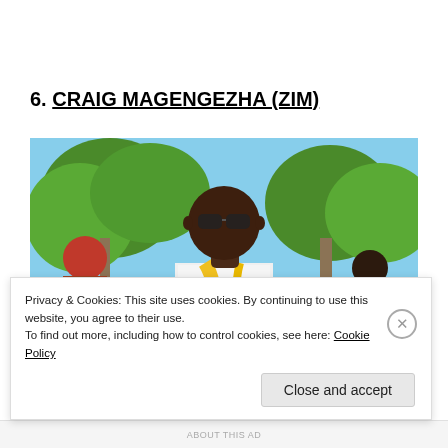6. CRAIG MAGENGEZHA (ZIM)
[Figure (photo): Photo of Craig Magengezha, a man wearing sunglasses, a white shirt with a yellow scarf/sash, standing outdoors with green trees in the background. Another person in a red hat is partially visible to the left.]
Privacy & Cookies: This site uses cookies. By continuing to use this website, you agree to their use.
To find out more, including how to control cookies, see here: Cookie Policy
Close and accept
ABOUT THIS AD